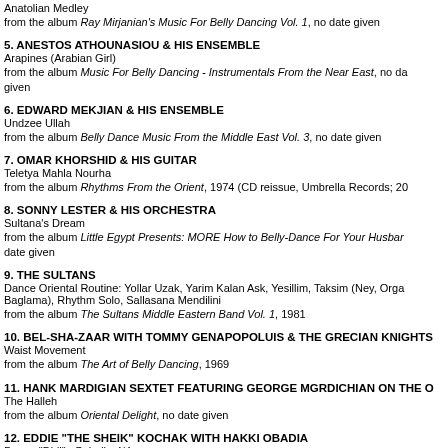Anatolian Medley
from the album Ray Mirjanian's Music For Belly Dancing Vol. 1, no date given
5. ANESTOS ATHOUNASIOU & HIS ENSEMBLE
Arapines (Arabian Girl)
from the album Music For Belly Dancing - Instrumentals From the Near East, no date given
6. EDWARD MEKJIAN & HIS ENSEMBLE
Undzee Ullah
from the album Belly Dance Music From the Middle East Vol. 3, no date given
7. OMAR KHORSHID & HIS GUITAR
Teletya Mahla Nourha
from the album Rhythms From the Orient, 1974 (CD reissue, Umbrella Records; 20
8. SONNY LESTER & HIS ORCHESTRA
Sultana's Dream
from the album Little Egypt Presents: MORE How to Belly-Dance For Your Husband, no date given
9. THE SULTANS
Dance Oriental Routine: Yollar Uzak, Yarim Kalan Ask, Yesillim, Taksim (Ney, Organ, Baglama), Rhythm Solo, Sallasana Mendilini
from the album The Sultans Middle Eastern Band Vol. 1, 1981
10. BEL-SHA-ZAAR WITH TOMMY GENAPOPOLUIS & THE GRECIAN KNIGHTS
Waist Movement
from the album The Art of Belly Dancing, 1969
11. HANK MARDIGIAN SEXTET FEATURING GEORGE MGRDICHIAN ON THE O
The Halleh
from the album Oriental Delight, no date given
12. EDDIE "THE SHEIK" KOCHAK WITH HAKKI OBADIA
Dance "Didi" - Beledi - 4/4
from the album Strictly Belly Dancing, The 5th Volume, 1977
13. THE PALACE OF ARABIA ORCHESTRA FEATURING HAKKI OBADIA